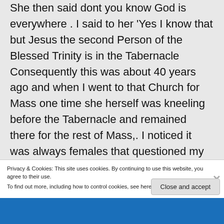She then said dont you know God is everywhere . I said to her 'Yes I know that but Jesus the second Person of the Blessed Trinity is in the Tabernacle Consequently this was about 40 years ago and when I went to that Church for Mass one time she herself was kneeling before the Tabernacle and remained there for the rest of Mass,. I noticed it was always females that questioned my actions!
Privacy & Cookies: This site uses cookies. By continuing to use this website, you agree to their use. To find out more, including how to control cookies, see here: Cookie Policy